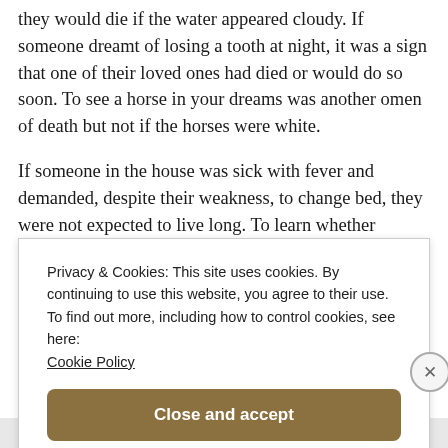they would die if the water appeared cloudy. If someone dreamt of losing a tooth at night, it was a sign that one of their loved ones had died or would do so soon. To see a horse in your dreams was another omen of death but not if the horses were white.
If someone in the house was sick with fever and demanded, despite their weakness, to change bed, they were not expected to live long. To learn whether
Privacy & Cookies: This site uses cookies. By continuing to use this website, you agree to their use.
To find out more, including how to control cookies, see here:
Cookie Policy
Close and accept